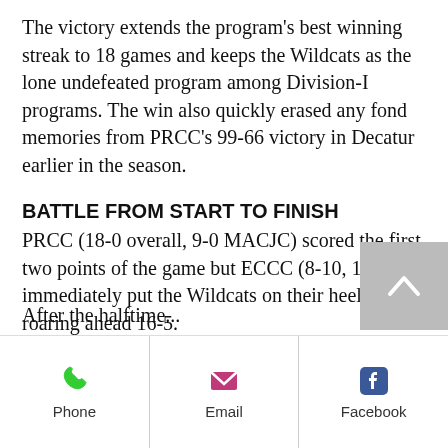The victory extends the program's best winning streak to 18 games and keeps the Wildcats as the lone undefeated program among Division-I programs. The win also quickly erased any fond memories from PRCC's 99-66 victory in Decatur earlier in the season.
BATTLE FROM START TO FINISH
PRCC (18-0 overall, 9-0 MACJC) scored the first two points of the game but ECCC (8-10, 1-8) immediately put the Wildcats on their heels by roaring ahead 16-5.
After the halftime...
Phone | Email | Facebook